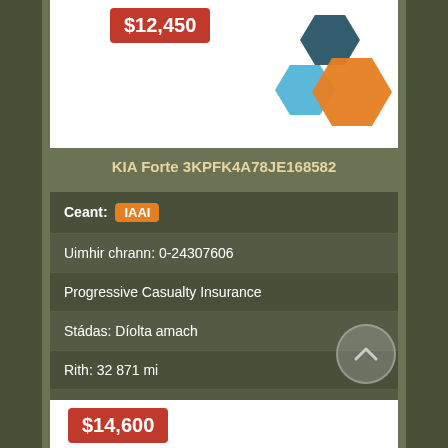[Figure (other): Car auction listing image area showing hexagon logo icons (dark teal, light blue, orange) on white background]
$12,450
KIA Forte 3KPFK4A78JE168582
| Ceant: | IAAI |
| Uimhir chrann: 0-24307606 |
| Progressive Casualty Insurance |
| Stádas: Díolta amach |
| Rith: 32 871 mi |
| Dáta díola: 2019-04-30 |
$14,600